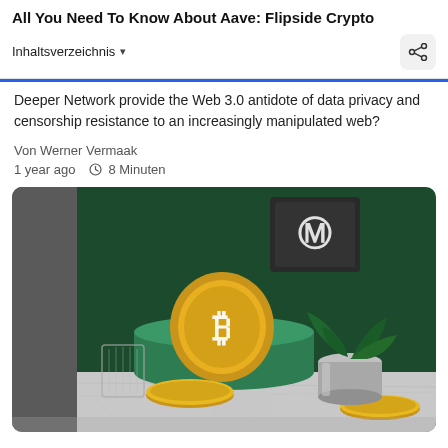All You Need To Know About Aave: Flipside Crypto
Inhaltsverzeichnis
Deeper Network provide the Web 3.0 antidote of data privacy and censorship resistance to an increasingly manipulated web?
Von Werner Vermaak
1 year ago   8 Minuten
[Figure (photo): 3D rendered scene showing a gold Bitcoin coin standing upright on a green draped podium, with additional gold coins lying flat nearby, a glass cup on the left, a silver cylindrical container with a plant on the right, a framed CoinMarketCap logo on the dark green wall in the background, all set on a marble surface.]